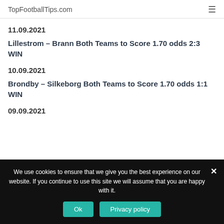TopFootballTips.com
11.09.2021
Lillestrom – Brann Both Teams to Score 1.70 odds 2:3 WIN
10.09.2021
Brondby – Silkeborg Both Teams to Score 1.70 odds 1:1 WIN
09.09.2021
We use cookies to ensure that we give you the best experience on our website. If you continue to use this site we will assume that you are happy with it.